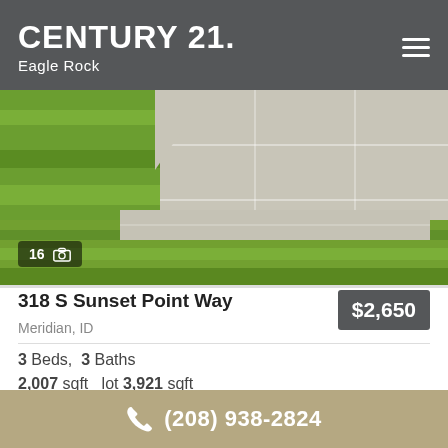CENTURY 21. Eagle Rock
[Figure (photo): Outdoor photo showing green lawn grass and light gray patio tile/concrete pavers. A badge in the lower-left shows '16' with a camera icon indicating 16 photos.]
318 S Sunset Point Way
Meridian, ID
$2,650
3 Beds,  3 Baths
2,007 sqft   lot 3,921 sqft
MLS 98856958
1 Days on Market
(208) 938-2824